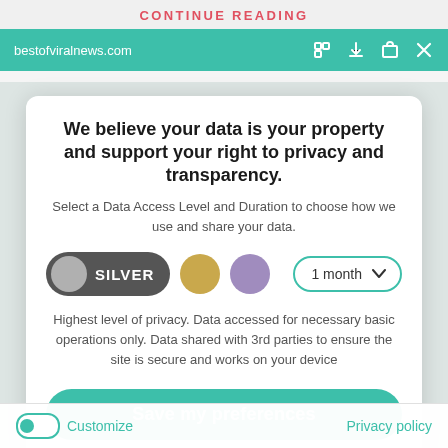CONTINUE READING
bestofviralnews.com
We believe your data is your property and support your right to privacy and transparency.
Select a Data Access Level and Duration to choose how we use and share your data.
[Figure (infographic): Three data level selector buttons: Silver pill (dark grey with grey circle), Gold circle, Purple circle; plus a 1 month dropdown selector with teal border]
Highest level of privacy. Data accessed for necessary basic operations only. Data shared with 3rd parties to ensure the site is secure and works on your device
Save my preferences
Customize
Privacy policy